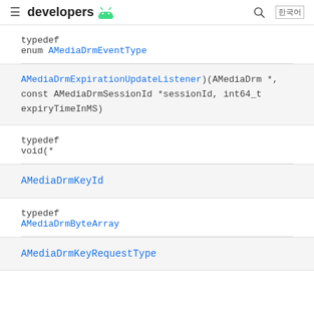≡ developers [android] 🔍 한국어
typedef
enum AMediaDrmEventType
AMediaDrmExpirationUpdateListener)(AMediaDrm *, const AMediaDrmSessionId *sessionId, int64_t expiryTimeInMS)
typedef
void(*
AMediaDrmKeyId
typedef
AMediaDrmByteArray
AMediaDrmKeyRequestType